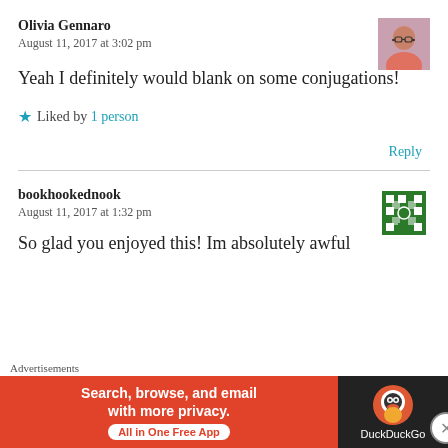Olivia Gennaro
August 11, 2017 at 3:02 pm
Yeah I definitely would blank on some conjugations!
★ Liked by 1 person
Reply
bookhookednook
August 11, 2017 at 1:32 pm
So glad you enjoyed this! Im absolutely awful
Advertisements
[Figure (screenshot): DuckDuckGo advertisement banner: orange left panel with 'Search, browse, and email with more privacy. All in One Free App' and dark right panel with DuckDuckGo logo]